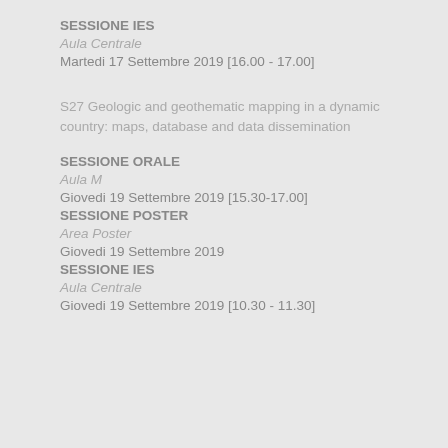SESSIONE IES
Aula Centrale
Martedi 17 Settembre 2019 [16.00 - 17.00]
S27 Geologic and geothematic mapping in a dynamic country: maps, database and data dissemination
SESSIONE ORALE
Aula M
Giovedi 19 Settembre 2019 [15.30-17.00]
SESSIONE POSTER
Area Poster
Giovedi 19 Settembre 2019
SESSIONE IES
Aula Centrale
Giovedi 19 Settembre 2019 [10.30 - 11.30]